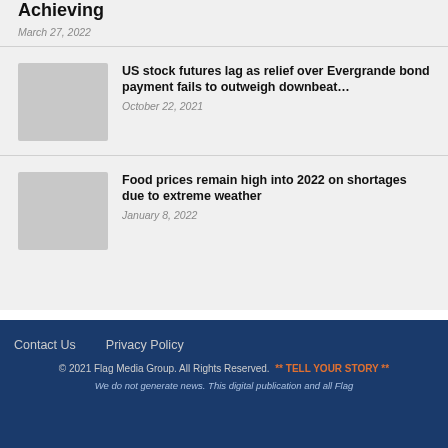Achieving
March 27, 2022
US stock futures lag as relief over Evergrande bond payment fails to outweigh downbeat…
October 22, 2021
Food prices remain high into 2022 on shortages due to extreme weather
January 8, 2022
Contact Us   Privacy Policy
© 2021 Flag Media Group. All Rights Reserved. ** TELL YOUR STORY **
We do not generate news. This digital publication and all Flag